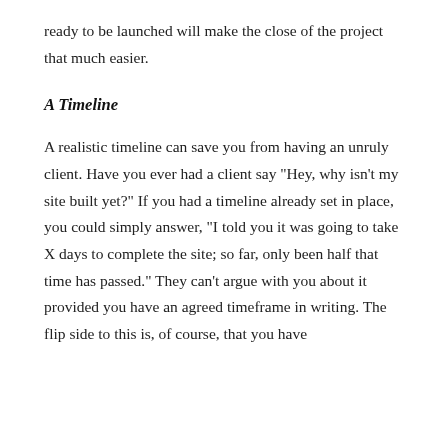ready to be launched will make the close of the project that much easier.
A Timeline
A realistic timeline can save you from having an unruly client. Have you ever had a client say "Hey, why isn't my site built yet?" If you had a timeline already set in place, you could simply answer, "I told you it was going to take X days to complete the site; so far, only been half that time has passed." They can't argue with you about it provided you have an agreed timeframe in writing. The flip side to this is, of course, that you have